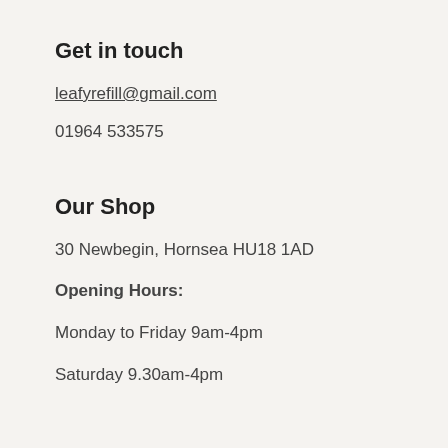Get in touch
leafyrefill@gmail.com
01964 533575
Our Shop
30 Newbegin, Hornsea HU18 1AD
Opening Hours:
Monday to Friday 9am-4pm
Saturday 9.30am-4pm